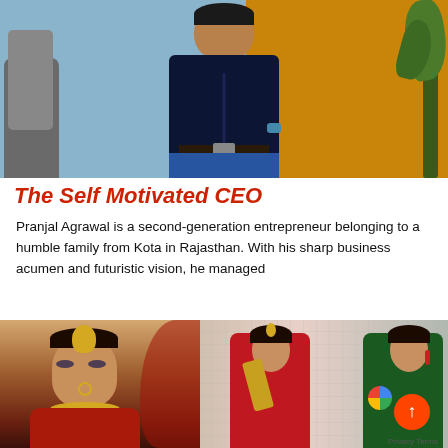[Figure (photo): Professional photo of a man (Pranjal Agrawal) in a dark navy blue shirt and jeans with a belt buckle, wearing a watch, standing in front of a blue and ochre/yellow background with a plant and leather chair visible]
The Self Motivated CEO
Pranjal Agrawal is a second-generation entrepreneur belonging to a humble family from Kota in Rajasthan. With his sharp business acumen and futuristic vision, he managed
[Figure (photo): Two photos side by side: left shows a bride in traditional Indian bridal attire with gold jewelry, maang tikka, nose ring, and red dupatta; right shows two women in red and green traditional outfits, one holding a decorative item]